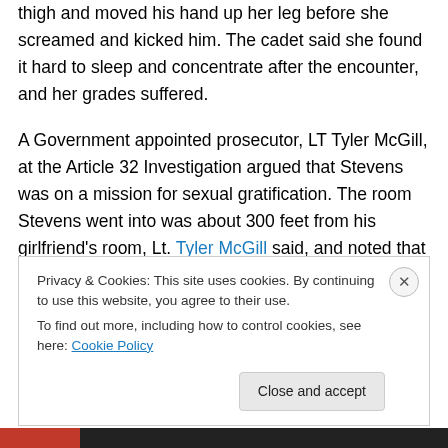thigh and moved his hand up her leg before she screamed and kicked him. The cadet said she found it hard to sleep and concentrate after the encounter, and her grades suffered.
A Government appointed prosecutor, LT Tyler McGill, at the Article 32 Investigation argued that Stevens was on a mission for sexual gratification. The room Stevens went into was about 300 feet from his girlfriend's room, Lt. Tyler McGill said, and noted that the classmate was lower in rank.
Privacy & Cookies: This site uses cookies. By continuing to use this website, you agree to their use. To find out more, including how to control cookies, see here: Cookie Policy